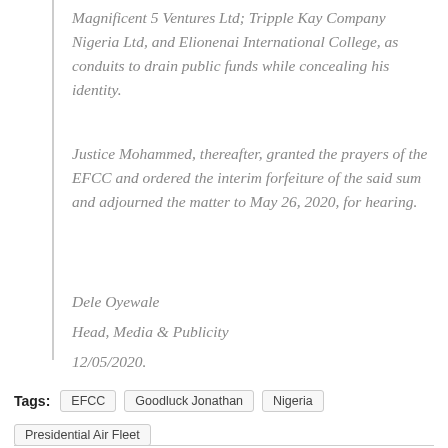Magnificent 5 Ventures Ltd; Tripple Kay Company Nigeria Ltd, and Elionenai International College, as conduits to drain public funds while concealing his identity.
Justice Mohammed, thereafter, granted the prayers of the EFCC and ordered the interim forfeiture of the said sum and adjourned the matter to May 26, 2020, for hearing.
Dele Oyewale
Head, Media & Publicity
12/05/2020.
Tags: EFCC  Goodluck Jonathan  Nigeria  Presidential Air Fleet